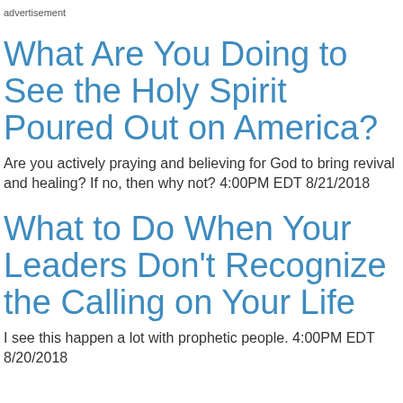advertisement
What Are You Doing to See the Holy Spirit Poured Out on America?
Are you actively praying and believing for God to bring revival and healing? If no, then why not? 4:00PM EDT 8/21/2018
What to Do When Your Leaders Don't Recognize the Calling on Your Life
I see this happen a lot with prophetic people. 4:00PM EDT 8/20/2018